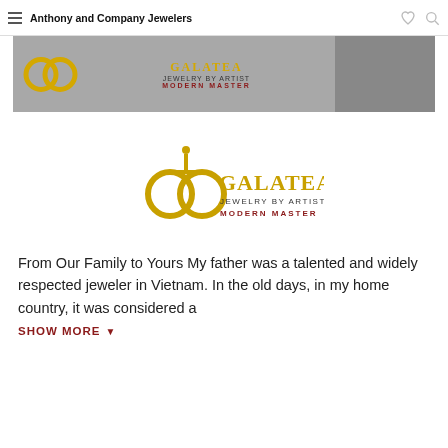Anthony and Company Jewelers
[Figure (photo): Banner image showing Galatea Jewelry by Artist Modern Master logo and a woman in black top]
[Figure (logo): Galatea Jewelry by Artist Modern Master logo with gold circular symbol and text]
From Our Family to Yours My father was a talented and widely respected jeweler in Vietnam. In the old days, in my home country, it was considered a
SHOW MORE